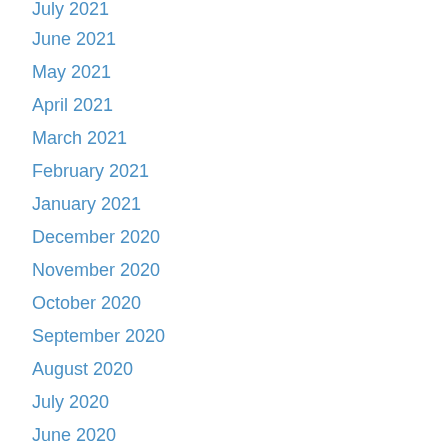July 2021
June 2021
May 2021
April 2021
March 2021
February 2021
January 2021
December 2020
November 2020
October 2020
September 2020
August 2020
July 2020
June 2020
March 2020
February 2020